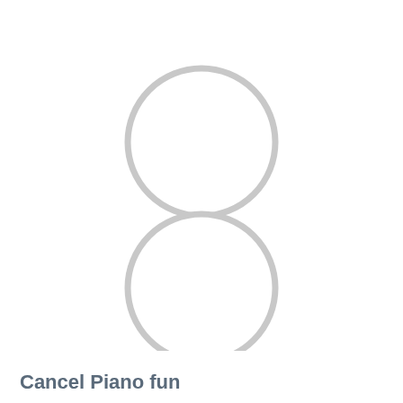[Figure (illustration): Two circular rings (open circles, white fill with light gray stroke) arranged vertically and centered horizontally. Top circle is positioned in the upper third of the page, bottom circle is in the middle-lower area.]
Cancel Piano fun